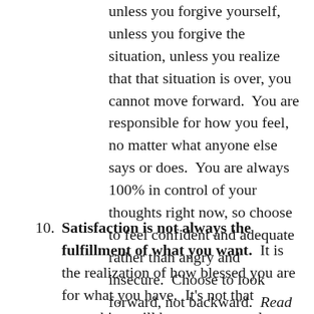unless you forgive yourself, unless you forgive the situation, unless you realize that that situation is over, you cannot move forward.  You are responsible for how you feel, no matter what anyone else says or does.  You are always 100% in control of your thoughts right now, so choose to feel confident and adequate rather than angry and insecure.  Choose to look forward, not backward.  Read Awaken the Giant Within.
10. Satisfaction is not always the fulfillment of what you want.  It is the realization of how blessed you are for what you have.  It's not that everything will be easy or exactly as you had